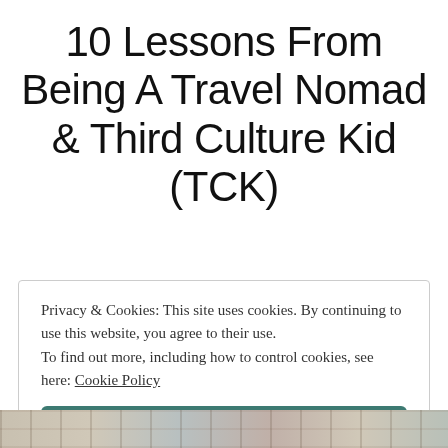10 Lessons From Being A Travel Nomad & Third Culture Kid (TCK)
Privacy & Cookies: This site uses cookies. By continuing to use this website, you agree to their use. To find out more, including how to control cookies, see here: Cookie Policy
Close and accept
[Figure (photo): Partial photo strip at bottom of page showing what appears to be a map or travel-related imagery]